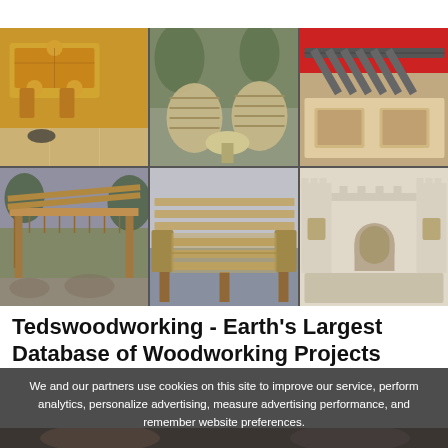[Figure (photo): 6-panel grid of woodworking project photos: puzzle-piece table, barrel chairs, storage bed, pergola, wooden bench, castle-themed bed]
Tedswoodworking - Earth's Largest Database of Woodworking Projects
We and our partners use cookies on this site to improve our service, perform analytics, personalize advertising, measure advertising performance, and remember website preferences.
Ok
[Figure (photo): Partial face visible at bottom of page behind cookie banner]